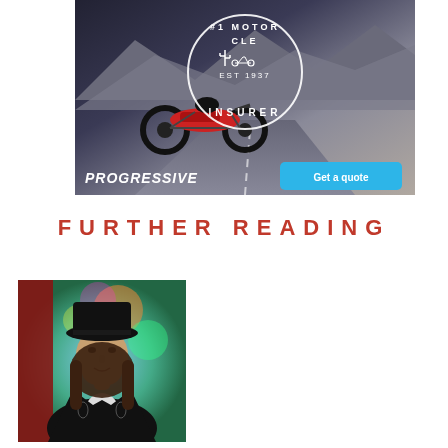[Figure (photo): Progressive motorcycle insurance advertisement. Shows a motorcyclist riding on a road with mountains in background. Overlaid circular badge reads '#1 MOTORCYCLE INSURER EST 1937' with cactus and motorcycle icons. Bottom left shows 'PROGRESSIVE' logo in white italic text. Bottom right has a blue 'Get a quote' button.]
FURTHER READING
[Figure (photo): Photo of a man wearing a black cowboy hat and black embroidered jacket with white shirt, photographed against a colorful blurred background with red curtain on the left.]